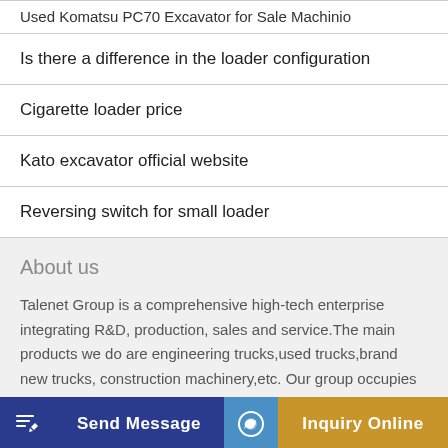Used Komatsu PC70 Excavator for Sale Machinio
Is there a difference in the loader configuration
Cigarette loader price
Kato excavator official website
Reversing switch for small loader
About us
Talenet Group is a comprehensive high-tech enterprise integrating R&D, production, sales and service.The main products we do are engineering trucks,used trucks,brand new trucks, construction machinery,etc. Our group occupies an area of 700,000 square [employees] and 42,000 technical workers. The group has been involved in the
Send Message
Inquiry Online